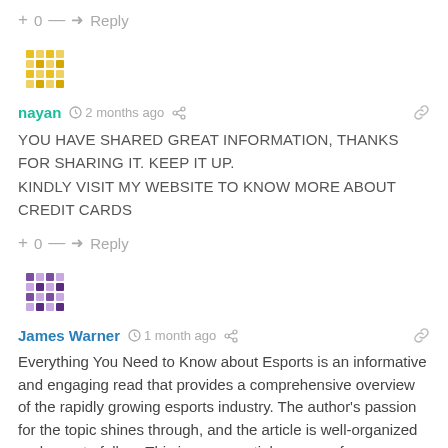+ 0 — → Reply
[Figure (illustration): Yellow mosaic/geometric avatar icon for user nayan]
nayan  2 months ago  <share>  <link>
YOU HAVE SHARED GREAT INFORMATION, THANKS FOR SHARING IT. KEEP IT UP. KINDLY VISIT MY WEBSITE TO KNOW MORE ABOUT CREDIT CARDS
+ 0 — → Reply
[Figure (illustration): Purple mosaic/geometric avatar icon for user James Warner]
James Warner  1 month ago  <share>  <link>
Everything You Need to Know about Esports is an informative and engaging read that provides a comprehensive overview of the rapidly growing esports industry. The author's passion for the topic shines through, and the article is well-organized and easy to follow. This is an essential resource for anyone